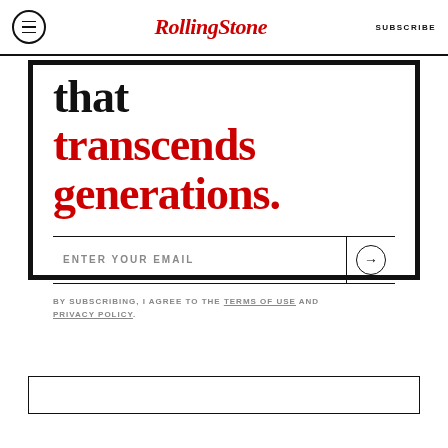Rolling Stone | SUBSCRIBE
that transcends generations.
ENTER YOUR EMAIL
BY SUBSCRIBING, I AGREE TO THE TERMS OF USE AND PRIVACY POLICY.